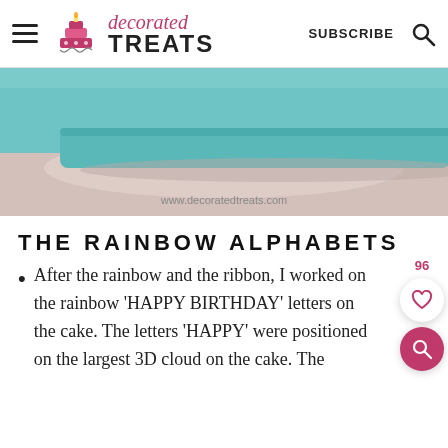decorated TREATS | SUBSCRIBE
[Figure (photo): Close-up photo of a teal/turquoise fondant-covered cake on a light table, showing the corner edge. Watermark: www.decoratedtreats.com]
THE RAINBOW ALPHABETS
After the rainbow and the ribbon, I worked on the rainbow 'HAPPY BIRTHDAY' letters on the cake. The letters 'HAPPY' were positioned on the largest 3D cloud on the cake. The